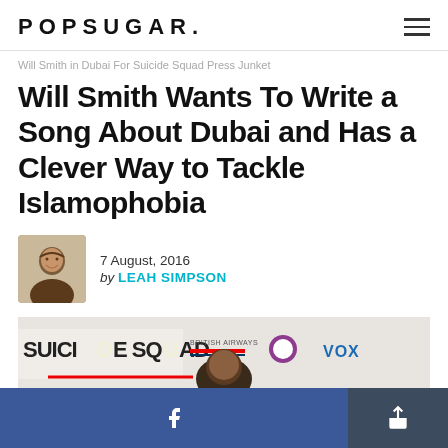POPSUGAR.
Will Smith in Dubai For Suicide Squad Press Junket
Will Smith Wants To Write a Song About Dubai and Has a Clever Way to Tackle Islamophobia
7 August, 2016 by LEAH SIMPSON
[Figure (photo): Will Smith at Suicide Squad press event backdrop with logos including Suicide Squad, British Airways, and VOX]
[Figure (other): Facebook share button and share/export button in bottom bar]